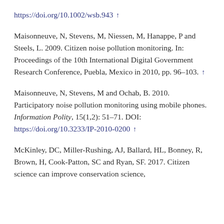https://doi.org/10.1002/wsb.943 ↑
Maisonneuve, N, Stevens, M, Niessen, M, Hanappe, P and Steels, L. 2009. Citizen noise pollution monitoring. In: Proceedings of the 10th International Digital Government Research Conference, Puebla, Mexico in 2010, pp. 96–103. ↑
Maisonneuve, N, Stevens, M and Ochab, B. 2010. Participatory noise pollution monitoring using mobile phones. Information Polity, 15(1,2): 51–71. DOI: https://doi.org/10.3233/IP-2010-0200 ↑
McKinley, DC, Miller-Rushing, AJ, Ballard, HL, Bonney, R, Brown, H, Cook-Patton, SC and Ryan, SF. 2017. Citizen science can improve conservation science,